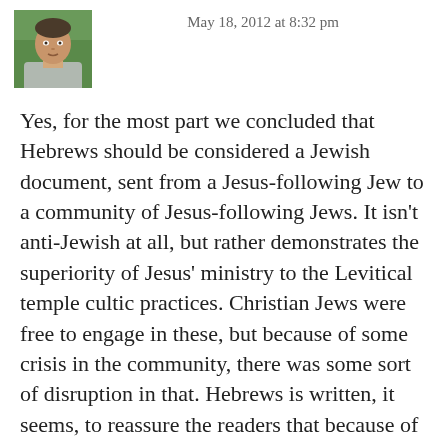[Figure (photo): Small headshot photo of a man outdoors with greenery in background]
May 18, 2012 at 8:32 pm
Yes, for the most part we concluded that Hebrews should be considered a Jewish document, sent from a Jesus-following Jew to a community of Jesus-following Jews. It isn't anti-Jewish at all, but rather demonstrates the superiority of Jesus' ministry to the Levitical temple cultic practices. Christian Jews were free to engage in these, but because of some crisis in the community, there was some sort of disruption in that. Hebrews is written, it seems, to reassure the readers that because of Jesus' work, their leaving aside participation in the temple apparatus won't jeopardize their relationship to the God of Israel. But that's to say nothing of Jews having to leave aside Judaism and embrace Christianity–a completely anachronistic conception.